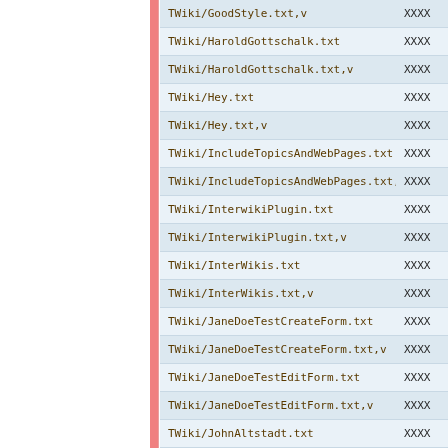| Name | Value |
| --- | --- |
| TWiki/GoodStyle.txt,v | XXXX |
| TWiki/HaroldGottschalk.txt | XXXX |
| TWiki/HaroldGottschalk.txt,v | XXXX |
| TWiki/Hey.txt | XXXX |
| TWiki/Hey.txt,v | XXXX |
| TWiki/IncludeTopicsAndWebPages.txt | XXXX |
| TWiki/IncludeTopicsAndWebPages.txt,v | XXXX |
| TWiki/InterwikiPlugin.txt | XXXX |
| TWiki/InterwikiPlugin.txt,v | XXXX |
| TWiki/InterWikis.txt | XXXX |
| TWiki/InterWikis.txt,v | XXXX |
| TWiki/JaneDoeTestCreateForm.txt | XXXX |
| TWiki/JaneDoeTestCreateForm.txt,v | XXXX |
| TWiki/JaneDoeTestEditForm.txt | XXXX |
| TWiki/JaneDoeTestEditForm.txt,v | XXXX |
| TWiki/JohnAltstadt.txt | XXXX |